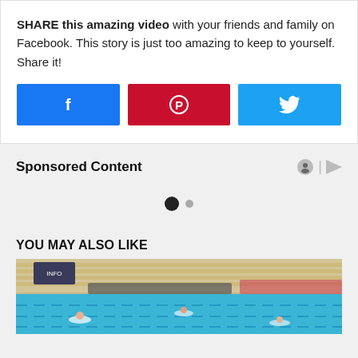SHARE this amazing video with your friends and family on Facebook. This story is just too amazing to keep to yourself. Share it!
[Figure (infographic): Three social media share buttons: Facebook (blue), Pinterest (red), Twitter (light blue), each with respective icons]
Sponsored Content
[Figure (infographic): Carousel dots: one large filled black dot and one smaller gray dot indicating pagination]
YOU MAY ALSO LIKE
[Figure (photo): Photo of a swimming pool with swimmers and spectators in bleacher seats in the background]